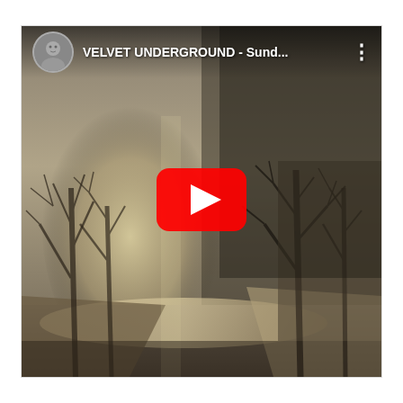[Figure (screenshot): YouTube video embed thumbnail showing a sepia/monochrome winter outdoor scene with bare trees and a canal or path. The video title reads 'VELVET UNDERGROUND - Sund...' with a circular avatar on the left and a three-dot menu icon on the right. A large YouTube play button (red rounded rectangle with white triangle) is centered over the image.]